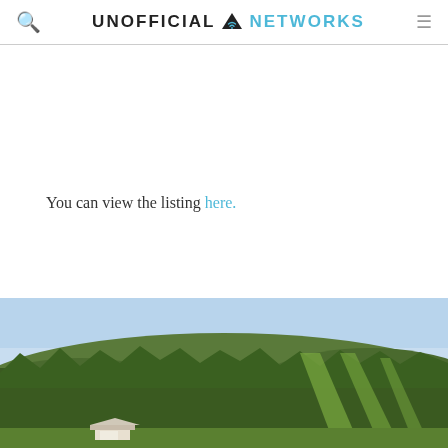UNOFFICIAL NETWORKS
You can view the listing here.
[Figure (photo): Aerial view of a ski mountain in summer/fall with green slopes, ski trails cut through dense forest, and a small building visible at the base. Clear blue sky in the background.]